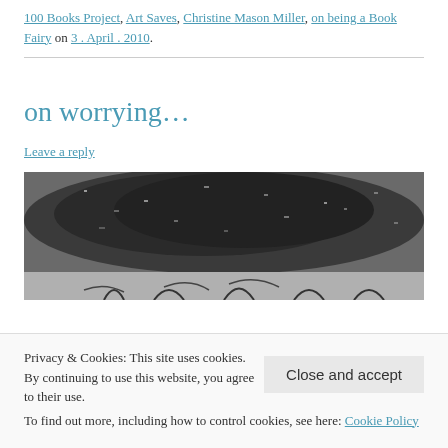100 Books Project, Art Saves, Christine Mason Miller, on being a Book Fairy on 3 . April . 2010.
on worrying...
Leave a reply
[Figure (photo): Black and white grainy photographic image showing a dark textured mass at the top and sketched figures at the bottom]
Privacy & Cookies: This site uses cookies. By continuing to use this website, you agree to their use.
To find out more, including how to control cookies, see here: Cookie Policy